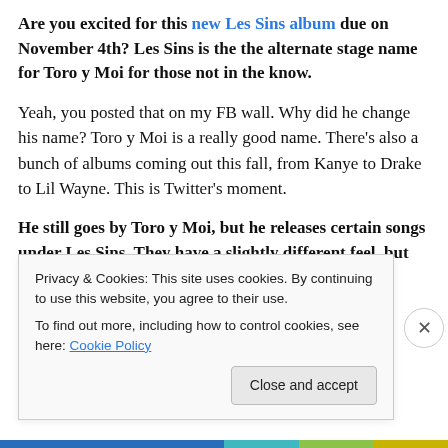Are you excited for this new Les Sins album due on November 4th? Les Sins is the the alternate stage name for Toro y Moi for those not in the know.
Yeah, you posted that on my FB wall. Why did he change his name? Toro y Moi is a really good name. There’s also a bunch of albums coming out this fall, from Kanye to Drake to Lil Wayne. This is Twitter’s moment.
He still goes by Toro y Moi, but he releases certain songs under Les Sins. They have a slightly different feel, but are still recognizable as Toro.
Privacy & Cookies: This site uses cookies. By continuing to use this website, you agree to their use.
To find out more, including how to control cookies, see here: Cookie Policy